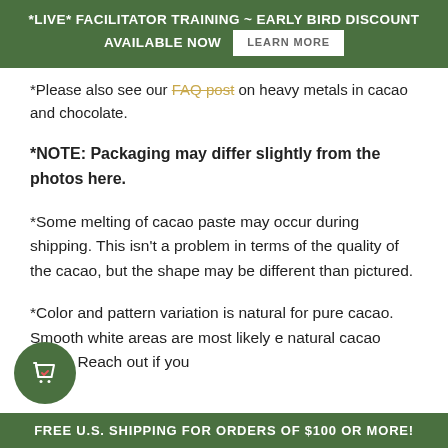*LIVE* FACILITATOR TRAINING ~ EARLY BIRD DISCOUNT AVAILABLE NOW   LEARN MORE
*Please also see our FAQ post on heavy metals in cacao and chocolate.
*NOTE: Packaging may differ slightly from the photos here.
*Some melting of cacao paste may occur during shipping. This isn't a problem in terms of the quality of the cacao, but the shape may be different than pictured.
*Color and pattern variation is natural for pure cacao. Smooth white areas are most likely e natural cacao butter. Reach out if you
FREE U.S. SHIPPING FOR ORDERS OF $100 OR MORE!